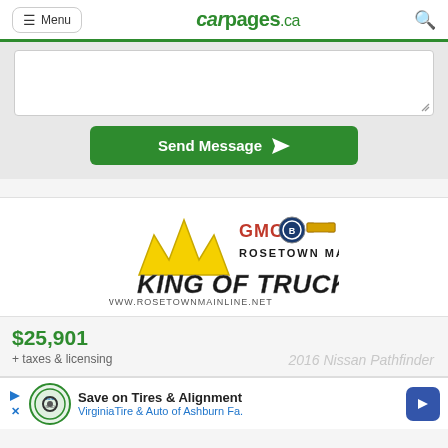Menu | carpages.ca
[Figure (screenshot): Textarea input box with resize handle, followed by green 'Send Message' button with paper plane icon]
[Figure (logo): Rosetown Mainline GMC Buick Chevrolet 'King of Trucks' dealer logo with crown graphic and www.rosetownmainline.net URL]
$25,901
+ taxes & licensing
2016 Nissan Pathfinder
[Figure (screenshot): Advertisement banner: Save on Tires & Alignment - VirginiaTire & Auto of Ashburn Fa. with play/close icons and blue arrow button]